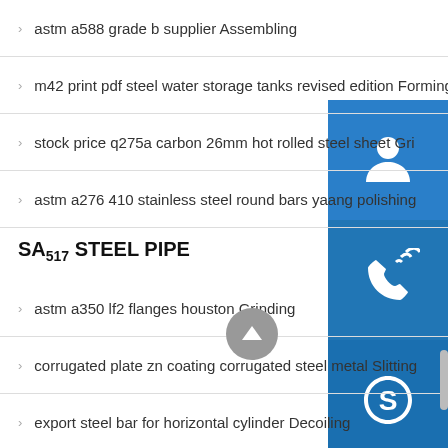astm a588 grade b supplier Assembling
m42 print pdf steel water storage tanks revised edition Forming
stock price q275a carbon 26mm hot rolled steel sheet Gri…
astm a276 410 stainless steel round bars yaang polishing…
SA517 STEEL PIPE
astm a350 lf2 flanges houston Grinding
corrugated plate zn coating corrugated steel metal Slitting
export steel bar for horizontal cylinder Decoiling
polishing stainless steel plate manufacture Forming
plates ss316 stainless steel plates 316 price per kg Plasma welding
50… thick… stainless steel… Machining